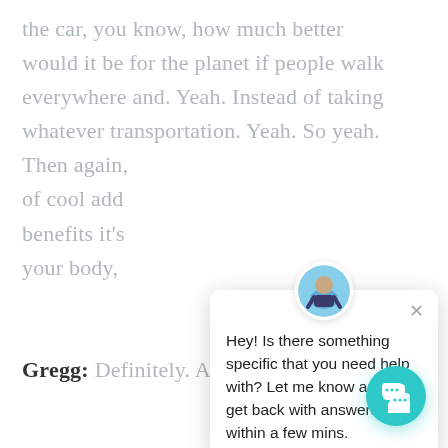the car, you know, how much better would it be for the planet if people walk everywhere and. Yeah. Instead of taking whatever transportation. Yeah. So yeah. Then again, of cool add benefits it's your body,
[Figure (screenshot): Chat popup widget with avatar, close button, and message: Hey! Is there something specific that you need help with? Let me know and I'll get back with answers within a few mins.]
[Figure (infographic): Teal circular chat button with speech bubble icon in bottom-right corner.]
Gregg: Definitely. And the